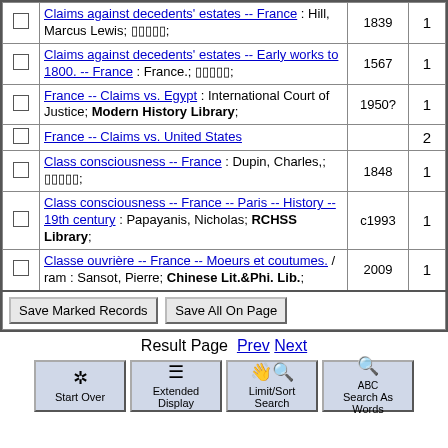|  | Description | Year | Count |
| --- | --- | --- | --- |
| ☐ | Claims against decedents' estates -- France : Hill, Marcus Lewis; □□□□□; | 1839 | 1 |
| ☐ | Claims against decedents' estates -- Early works to 1800. -- France : France.; □□□□□; | 1567 | 1 |
| ☐ | France -- Claims vs. Egypt : International Court of Justice; Modern History Library; | 1950? | 1 |
| ☐ | France -- Claims vs. United States |  | 2 |
| ☐ | Class consciousness -- France : Dupin, Charles,; □□□□□; | 1848 | 1 |
| ☐ | Class consciousness -- France -- Paris -- History -- 19th century : Papayanis, Nicholas; RCHSS Library; | c1993 | 1 |
| ☐ | Classe ouvrière -- France -- Moeurs et coutumes. / ram : Sansot, Pierre; Chinese Lit.&Phi. Lib.; | 2009 | 1 |
Save Marked Records    Save All On Page
Result Page  Prev Next
Start Over   Extended Display   Limit/Sort Search   Search As Words